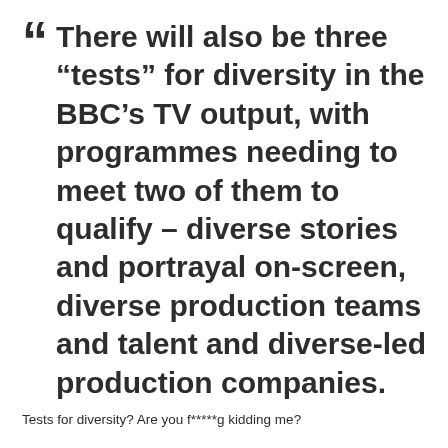“ There will also be three “tests” for diversity in the BBC’s TV output, with programmes needing to meet two of them to qualify – diverse stories and portrayal on-screen, diverse production teams and talent and diverse-led production companies.
Tests for diversity? Are you f*****g kidding me?